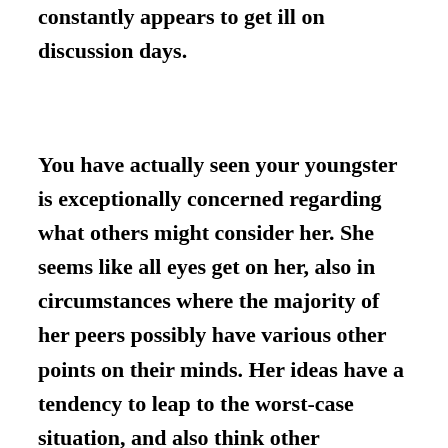constantly appears to get ill on discussion days.
You have actually seen your youngster is exceptionally concerned regarding what others might consider her. She seems like all eyes get on her, also in circumstances where the majority of her peers possibly have various other points on their minds. Her ideas have a tendency to leap to the worst-case situation, and also think other individuals are in contact first hand...